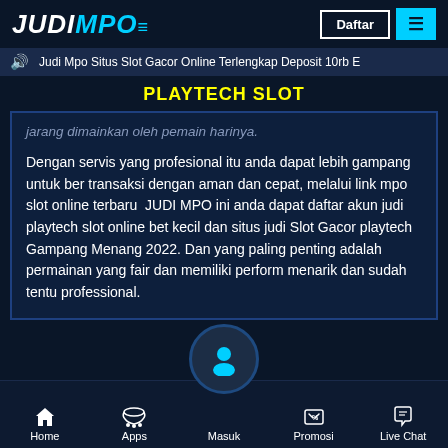JUDIMPO Daftar [menu]
Judi Mpo Situs Slot Gacor Online Terlengkap Deposit 10rb E
PLAYTECH SLOT
jarang dimainkan oleh pemain harinya.
Dengan servis yang profesional itu anda dapat lebih gampang untuk ber transaksi dengan aman dan cepat, melalui link mpo slot online terbaru JUDI MPO ini anda dapat daftar akun judi playtech slot online bet kecil dan situs judi Slot Gacor playtech Gampang Menang 2022. Dan yang paling penting adalah permainan yang fair dan memiliki perform menarik dan sudah tentu professional.
Home  Apps  Masuk  Promosi  Live Chat